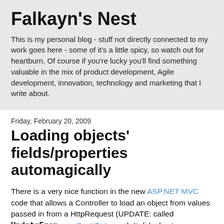Falkayn's Nest
This is my personal blog - stuff not directly connected to my work goes here - some of it's a little spicy, so watch out for heartburn. Of course if you're lucky you'll find something valuable in the mix of product development, Agile development, innovation, technology and marketing that I write about.
Friday, February 20, 2009
Loading objects' fields/properties automagically
There is a very nice function in the new ASP.NET MVC code that allows a Controller to load an object from values passed in from a HttpRequest (UPDATE: called UpdateFrom, see ScottGu's post). It did a best guess on matching values to object properties, but most (99%?) of the time that is all you need. Well, when I started using Domain-Driven Design